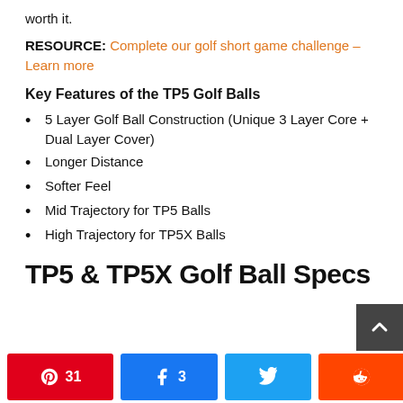worth it.
RESOURCE: Complete our golf short game challenge – Learn more
Key Features of the TP5 Golf Balls
5 Layer Golf Ball Construction (Unique 3 Layer Core + Dual Layer Cover)
Longer Distance
Softer Feel
Mid Trajectory for TP5 Balls
High Trajectory for TP5X Balls
TP5 & TP5X Golf Ball Specs